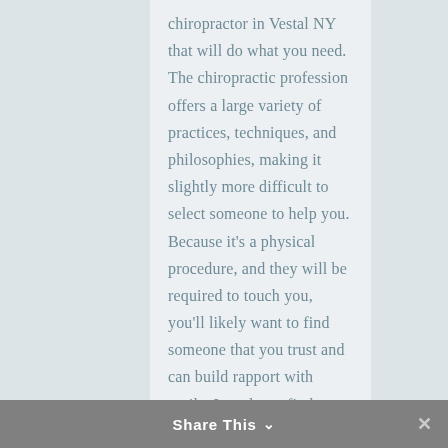chiropractor in Vestal NY that will do what you need. The chiropractic profession offers a large variety of practices, techniques, and philosophies, making it slightly more difficult to select someone to help you. Because it's a physical procedure, and they will be required to touch you, you'll likely want to find someone that you trust and can build rapport with easily. In order to find someone like this, you'll want to ask specific questions.
Share This ∨  ✕